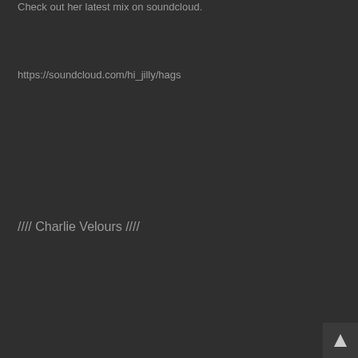Check out her latest mix on soundcloud.
https://soundcloud.com/hi_jilly/hags
//// Charlie Velours ////